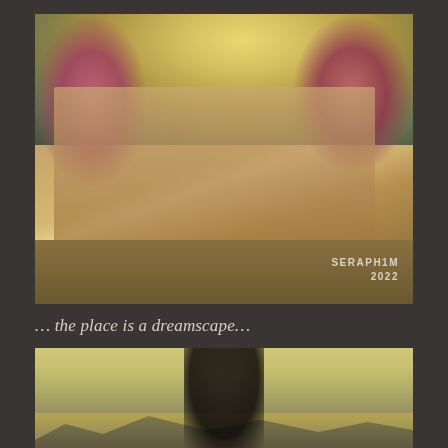[Figure (screenshot): Virtual world / game screenshot showing a female avatar in black crop top and patterned pants with cat ears, standing in front of an ornate building with arched doorways, surrounded by pink/purple flowering trees and warm golden light. Watermark reads 'SERAPHIM 2022' in bottom right.]
… the place is a dreamscape…
[Figure (screenshot): Virtual world / game screenshot showing a female avatar viewed from behind, wearing a black outfit with red accessories, set against a warm golden sky with mountains in the background.]